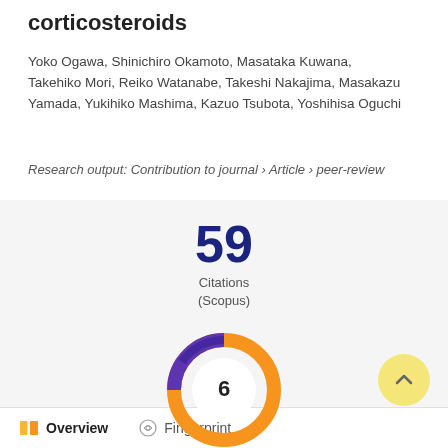corticosteroids
Yoko Ogawa, Shinichiro Okamoto, Masataka Kuwana, Takehiko Mori, Reiko Watanabe, Takeshi Nakajima, Masakazu Yamada, Yukihiko Mashima, Kazuo Tsubota, Yoshihisa Oguchi
Research output: Contribution to journal › Article › peer-review
59 Citations (Scopus)
[Figure (donut-chart): Donut chart showing value 6 in center, with purple and orange segments]
Overview   Fingerprint